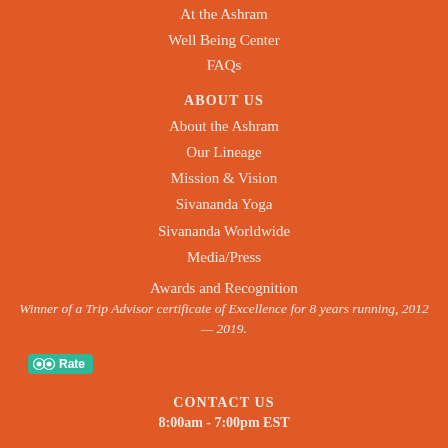At the Ashram
Well Being Center
FAQs
ABOUT US
About the Ashram
Our Lineage
Mission & Vision
Sivananda Yoga
Sivananda Worldwide
Media/Press
Awards and Recognition
Winner of a Trip Advisor certificate of Excellence for 8 years running, 2012 — 2019.
[Figure (logo): TripAdvisor Rate badge button in teal/green color]
CONTACT US
8:00am - 7:00pm EST